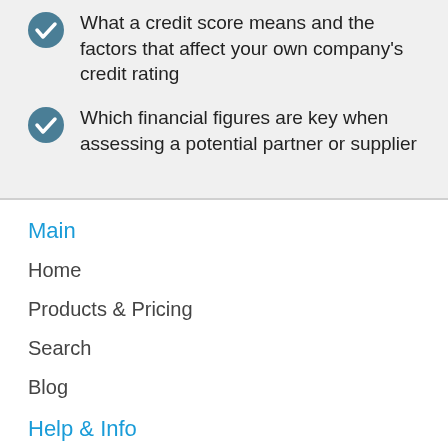What a credit score means and the factors that affect your own company's credit rating
Which financial figures are key when assessing a potential partner or supplier
Main
Home
Products & Pricing
Search
Blog
Help & Info
Contact us
Support Home
FAQs
Terms and conditions